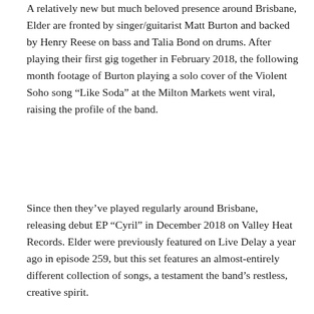A relatively new but much beloved presence around Brisbane, Elder are fronted by singer/guitarist Matt Burton and backed by Henry Reese on bass and Talia Bond on drums. After playing their first gig together in February 2018, the following month footage of Burton playing a solo cover of the Violent Soho song “Like Soda” at the Milton Markets went viral, raising the profile of the band.
Since then they’ve played regularly around Brisbane, releasing debut EP “Cyril” in December 2018 on Valley Heat Records. Elder were previously featured on Live Delay a year ago in episode 259, but this set features an almost-entirely different collection of songs, a testament the band’s restless, creative spirit.
[Figure (screenshot): SoundCloud embedded player widget showing '4ZZZ Live Delay' with a play button, track title 'Live Delay - E...' and SoundCloud branding, over a dark/orange background image]